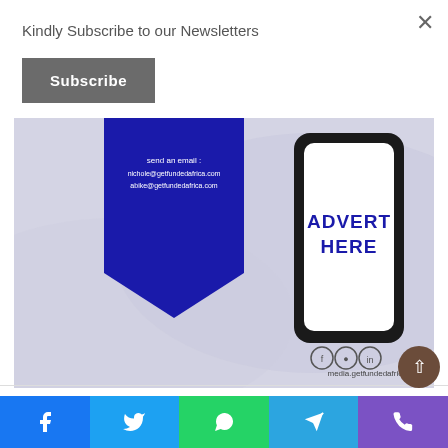×
Kindly Subscribe to our Newsletters
Subscribe
[Figure (infographic): Advertisement banner for getfundedafrica.com media. Shows a blue chevron/pennant on the left with text 'send an email: nichole@getfundedafrica.com abike@getfundedafrica.com', and a smartphone mockup on the right with 'ADVERT HERE' in bold blue text. Social media icons (Facebook, Instagram, LinkedIn) and media.getfundedafrica.com URL at bottom right.]
Advertise with us. Send an email: nichole@getfundedafrica.com
Facebook share
Twitter share
WhatsApp share
Telegram share
Phone